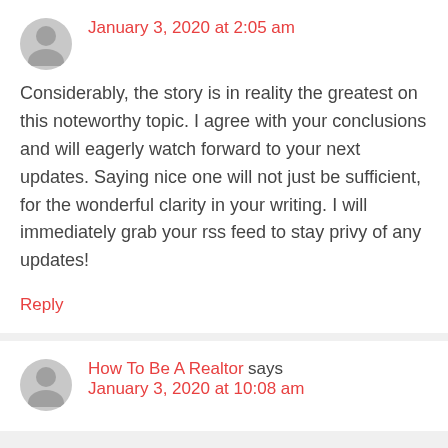January 3, 2020 at 2:05 am
Considerably, the story is in reality the greatest on this noteworthy topic. I agree with your conclusions and will eagerly watch forward to your next updates. Saying nice one will not just be sufficient, for the wonderful clarity in your writing. I will immediately grab your rss feed to stay privy of any updates!
Reply
How To Be A Realtor says
January 3, 2020 at 10:08 am